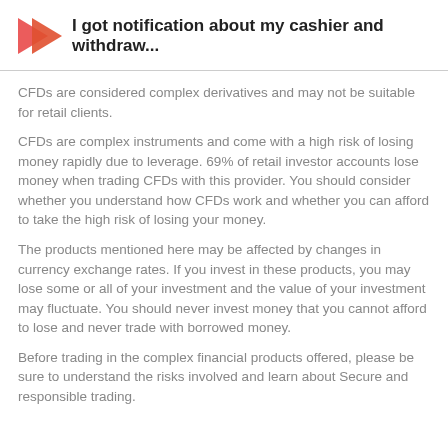I got notification about my cashier and withdraw...
CFDs are considered complex derivatives and may not be suitable for retail clients.
CFDs are complex instruments and come with a high risk of losing money rapidly due to leverage. 69% of retail investor accounts lose money when trading CFDs with this provider. You should consider whether you understand how CFDs work and whether you can afford to take the high risk of losing your money.
The products mentioned here may be affected by changes in currency exchange rates. If you invest in these products, you may lose some or all of your investment and the value of your investment may fluctuate. You should never invest money that you cannot afford to lose and never trade with borrowed money.
Before trading in the complex financial products offered, please be sure to understand the risks involved and learn about Secure and responsible trading.